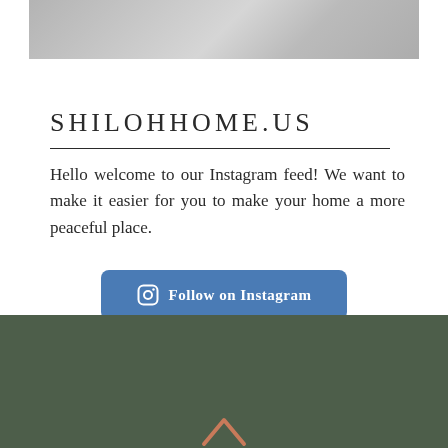[Figure (photo): Partial photo of a person sitting, shown at top of page as a cropped strip]
SHILOHHOME.US
Hello welcome to our Instagram feed! We want to make it easier for you to make your home a more peaceful place.
[Figure (other): Blue rounded button with Instagram icon and text 'Follow on Instagram']
[Figure (other): Dark olive green footer bar with a small decorative logo icon at the bottom center]